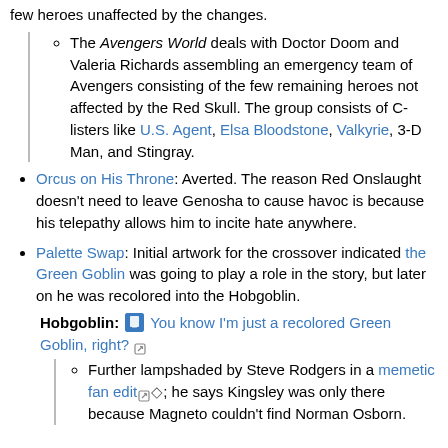few heroes unaffected by the changes.
The Avengers World deals with Doctor Doom and Valeria Richards assembling an emergency team of Avengers consisting of the few remaining heroes not affected by the Red Skull. The group consists of C-listers like U.S. Agent, Elsa Bloodstone, Valkyrie, 3-D Man, and Stingray.
Orcus on His Throne: Averted. The reason Red Onslaught doesn't need to leave Genosha to cause havoc is because his telepathy allows him to incite hate anywhere.
Palette Swap: Initial artwork for the crossover indicated the Green Goblin was going to play a role in the story, but later on he was recolored into the Hobgoblin.
Hobgoblin: You know I'm just a recolored Green Goblin, right?
Further lampshaded by Steve Rodgers in a memetic fan edit; he says Kingsley was only there because Magneto couldn't find Norman Osborn.